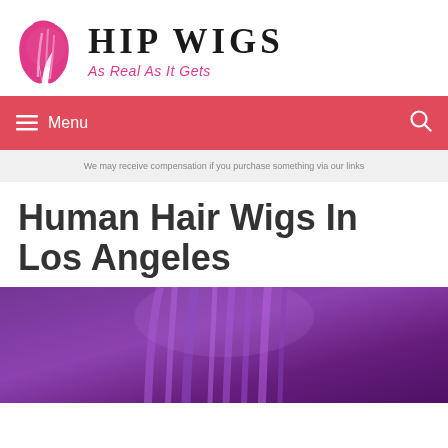[Figure (logo): Hip Wigs logo: pink stylized hair/wig icon on left, bold gothic text 'HIP WIGS' on right with pink italic tagline 'As Real As It Gets']
☰ Menu
We may receive compensation if you purchase something via our links
Human Hair Wigs In Los Angeles
[Figure (photo): Close-up photo of a person with long purple/violet streaked hair, colorful wig, blurred background]